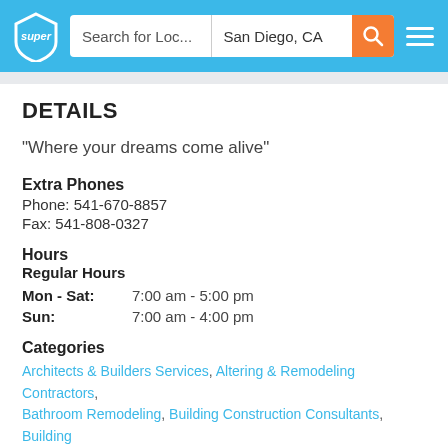[Figure (screenshot): Website header with Super logo, search bar showing 'Search for Loc...' and 'San Diego, CA', orange search button, and hamburger menu icon on a blue background]
DETAILS
"Where your dreams come alive"
Extra Phones
Phone: 541-670-8857
Fax: 541-808-0327
Hours
Regular Hours
Mon - Sat:   7:00 am - 5:00 pm
Sun:   7:00 am - 4:00 pm
Categories
Architects & Builders Services, Altering & Remodeling Contractors, Bathroom Remodeling, Building Construction Consultants, Building